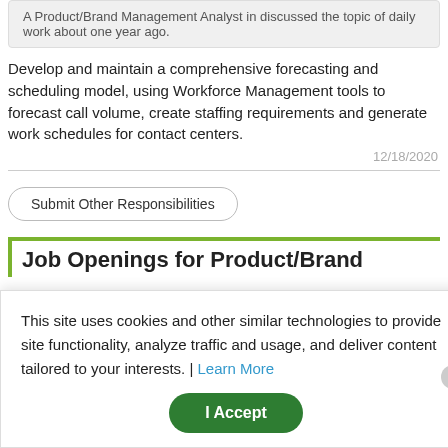A Product/Brand Management Analyst in discussed the topic of daily work about one year ago.
Develop and maintain a comprehensive forecasting and scheduling model, using Workforce Management tools to forecast call volume, create staffing requirements and generate work schedules for contact centers.
12/18/2020
Submit Other Responsibilities
Job Openings for Product/Brand
This site uses cookies and other similar technologies to provide site functionality, analyze traffic and usage, and deliver content tailored to your interests. | Learn More
I Accept